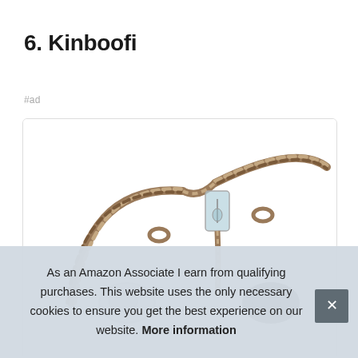6. Kinboofi
#ad
[Figure (photo): Product photo of Kinboofi earphones/IEM cables with braided copper wire, shown on white background inside a rounded-corner card.]
As an Amazon Associate I earn from qualifying purchases. This website uses the only necessary cookies to ensure you get the best experience on our website. More information